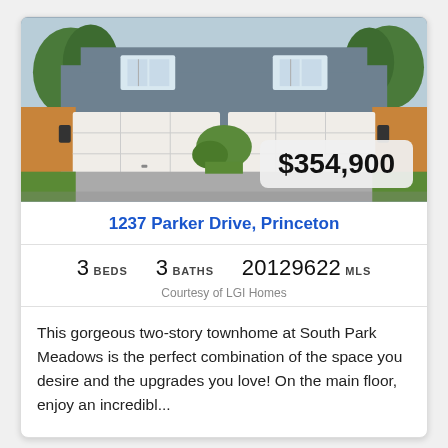[Figure (photo): Exterior photo of a two-story gray townhome with two white garage doors, driveway, landscaping, and a price badge showing $354,900]
1237 Parker Drive, Princeton
3 BEDS   3 BATHS   20129622 MLS
Courtesy of LGI Homes
This gorgeous two-story townhome at South Park Meadows is the perfect combination of the space you desire and the upgrades you love! On the main floor, enjoy an incredibl...